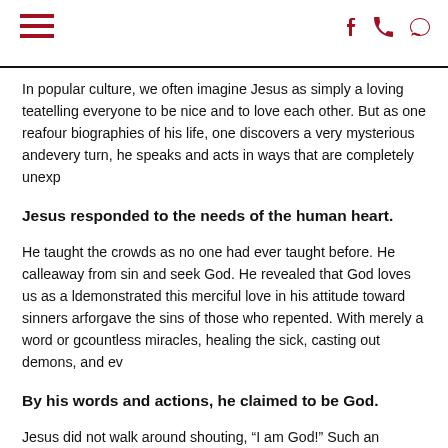Navigation header with hamburger menu and icons
In popular culture, we often imagine Jesus as simply a loving teacher telling everyone to be nice and to love each other. But as one reads the four biographies of his life, one discovers a very mysterious and ... every turn, he speaks and acts in ways that are completely unexp...
Jesus responded to the needs of the human heart.
He taught the crowds as no one had ever taught before. He called... away from sin and seek God. He revealed that God loves us as a ... demonstrated this merciful love in his attitude toward sinners an... forgave the sins of those who repented. With merely a word or g... countless miracles, healing the sick, casting out demons, and ev...
By his words and actions, he claimed to be God.
Jesus did not walk around shouting, "I am God!" Such an approa...